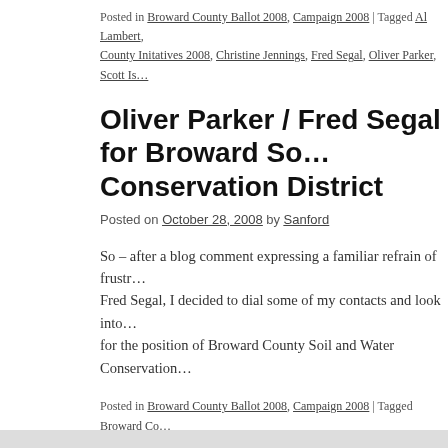Posted in Broward County Ballot 2008, Campaign 2008 | Tagged Al Lambert, County Initatives 2008, Christine Jennings, Fred Segal, Oliver Parker, Scott Is...
Oliver Parker / Fred Segal for Broward Soil and Water Conservation District
Posted on October 28, 2008 by Sanford
So – after a blog comment expressing a familiar refrain of frustration with Fred Segal, I decided to dial some of my contacts and look into the candidates for the position of Broward County Soil and Water Conservation...
Posted in Broward County Ballot 2008, Campaign 2008 | Tagged Broward Co..., Broward Soil and Water Conservation District, Fred Segal, Oliver Parker | 8 C...
← Older posts
Political Gastronomica